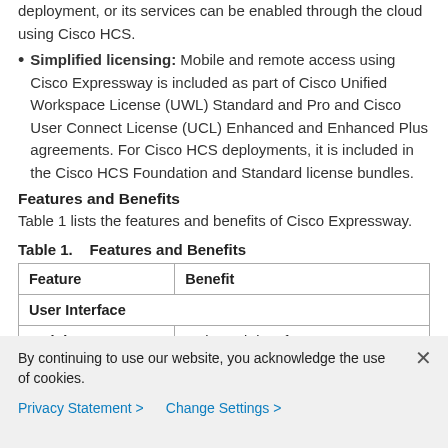deployment, or its services can be enabled through the cloud using Cisco HCS.
Simplified licensing: Mobile and remote access using Cisco Expressway is included as part of Cisco Unified Workspace License (UWL) Standard and Pro and Cisco User Connect License (UCL) Enhanced and Enhanced Plus agreements. For Cisco HCS deployments, it is included in the Cisco HCS Foundation and Standard license bundles.
Features and Benefits
Table 1 lists the features and benefits of Cisco Expressway.
Table 1.    Features and Benefits
| Feature | Benefit |
| --- | --- |
| User Interface |  |
| Web browsers supported | • The web interface supports Internet Explorer 8, 9, 10, and 11; |
By continuing to use our website, you acknowledge the use of cookies.
Privacy Statement >    Change Settings >